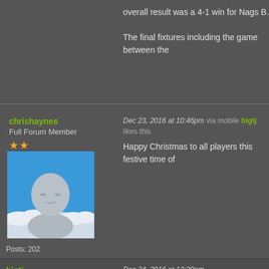overall result was a 4-1 win for Nags B.

The final fixtures including the game between the
chrishaynes
Full Forum Member
★★
Posts: 202
Dec 23, 2016 at 10:46pm   via mobile  bigtj likes this
Happy Christmas to all players this festive time of
[Figure (photo): Default avatar placeholder showing a grey figure/bust on a blue sky background]
bigtj
Global Moderator
★★★★★★★
Venerable Master
★★★★★★★
Dec 24, 2016 at 12:20pm   gandalf the untidy and chrishayn
Happy Xmas to all in Eastbourne and Hastings